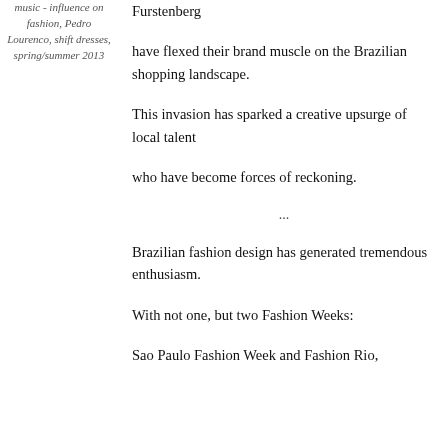music - influence on fashion, Pedro Lourenco, shift dresses, spring/summer 2013
Furstenberg
have flexed their brand muscle on the Brazilian shopping landscape.
This invasion has sparked a creative upsurge of local talent
who have become forces of reckoning.
...
Brazilian fashion design has generated tremendous enthusiasm.
With not one, but two Fashion Weeks:
Sao Paulo Fashion Week and Fashion Rio,